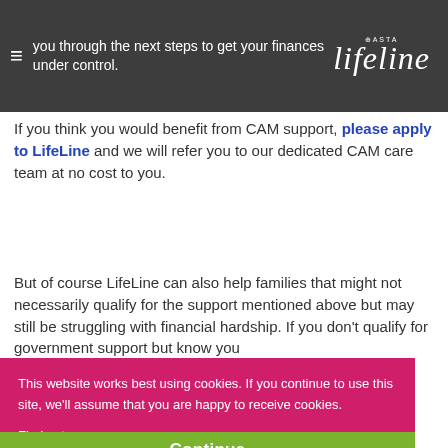you through the next steps to get your finances under control. ASTA lifeline
If you think you would benefit from CAM support, please apply to LifeLine and we will refer you to our dedicated CAM care team at no cost to you.
But of course LifeLine can also help families that might not necessarily qualify for the support mentioned above but may still be struggling with financial hardship. If you don't qualify for government support but know you
This website works best using cookies. If you continue to use this site, we'll assume that you are happy to receive cookies.
Find out more
Continue
Help with daily living costs, priority bills,